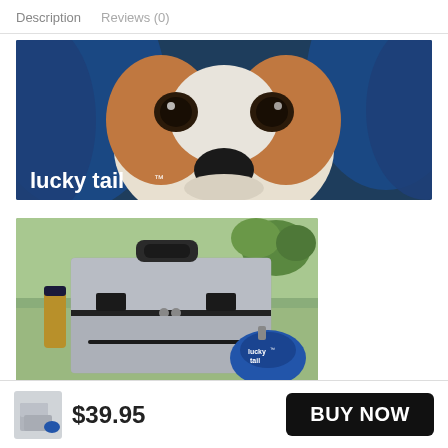Description   Reviews (0)
[Figure (photo): Close-up photo of a dog's face peeking out from under a dark blue blanket or towel, with the 'lucky tail' brand logo in white text at the bottom left.]
[Figure (photo): Photo of a gray fabric pet travel bag/carrier with black zippers and handles, a blue collapsible bowl with 'lucky tail' logo clipped to the side, and a bottle visible in the side pocket. Outdoor park background.]
$39.95
BUY NOW